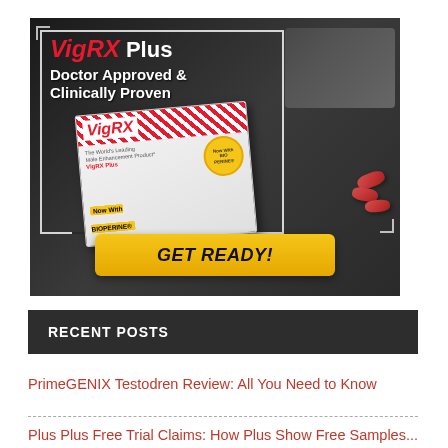[Figure (photo): VigRX Plus advertisement showing product box with pills, laptop in background, and GET READY! call-to-action button. Text reads: VigRX Plus Doctor Approved & Clinically Proven, Now With BIOPERINE]
RECENT POSTS
PrimeGENIX Testodren Review: All You Need to Know
Plus Plus Free Trial Claims: How Plus Show Free Samples...